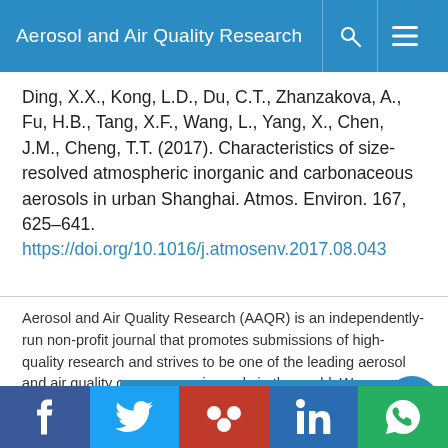Aerosol and Air Quality Research
Ding, X.X., Kong, L.D., Du, C.T., Zhanzakova, A., Fu, H.B., Tang, X.F., Wang, L., Yang, X., Chen, J.M., Cheng, T.T. (2017). Characteristics of size-resolved atmospheric inorganic and carbonaceous aerosols in urban Shanghai. Atmos. Environ. 167, 625–641. https://doi.org/10.1016/j.atmosenv.2017.08.043
Aerosol and Air Quality Research (AAQR) is an independently-run non-profit journal that promotes submissions of high-quality research and strives to be one of the leading aerosol and air quality open-access journals in the world. We use cookies on this website to personalize content to improve your user experience and analyze our traffic. By using this site you agree to its use of cookies.